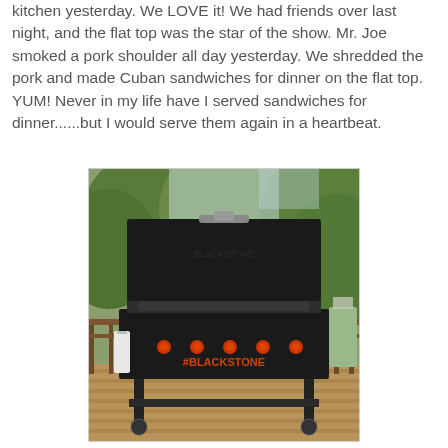kitchen yesterday. We LOVE it! We had friends over last night, and the flat top was the star of the show. Mr. Joe smoked a pork shoulder all day yesterday. We shredded the pork and made Cuban sandwiches for dinner on the flat top. YUM! Never in my life have I served sandwiches for dinner......but I would serve them again in a heartbeat.
[Figure (photo): A Blackstone flat top griddle on a wooden deck outdoors, surrounded by tall green trees. The griddle lid is open, revealing the large cooking surface. The Blackstone brand name is visible in orange letters on the front. A white towel hangs from the side. Multiple burner knobs are visible on the front panel.]